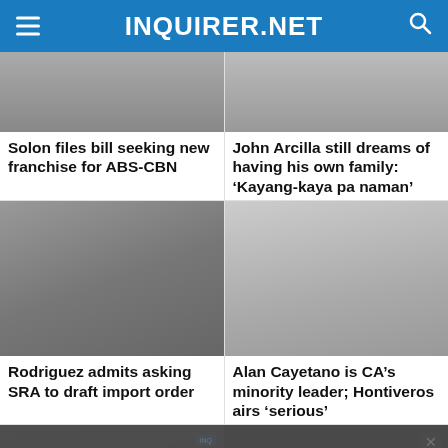INQUIRER.NET
[Figure (photo): Top left news thumbnail - car/vehicle scene]
[Figure (photo): Top right news thumbnail - person in suit]
Solon files bill seeking new franchise for ABS-CBN
John Arcilla still dreams of having his own family: ‘Kayang-kaya pa naman’
[Figure (photo): Middle left news thumbnail - two men, one holding object]
[Figure (photo): Middle right news thumbnail - man speaking at podium]
Rodriguez admits asking SRA to draft import order
Alan Cayetano is CA’s minority leader; Hontiveros airs ‘serious’
[Figure (screenshot): Video player showing DOH monkeypox news video with media error overlay]
DOH can't say yet if 4th monkeypox case is locally transmitted or not
The media could not be loaded, either because the server or network failed or because the format is not supported.